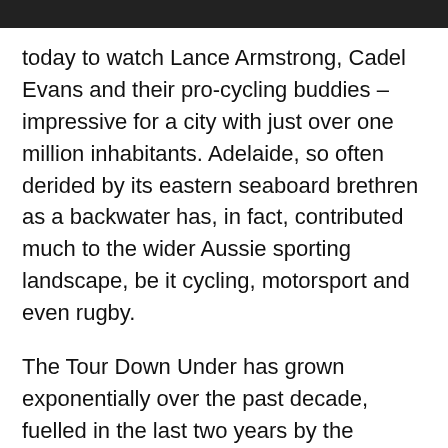today to watch Lance Armstrong, Cadel Evans and their pro-cycling buddies – impressive for a city with just over one million inhabitants. Adelaide, so often derided by its eastern seaboard brethren as a backwater has, in fact, contributed much to the wider Aussie sporting landscape, be it cycling, motorsport and even rugby.
The Tour Down Under has grown exponentially over the past decade, fuelled in the last two years by the presence of Lance Armstrong, becoming the first event outside of Europe to be included on the UCI's Pro Tour.